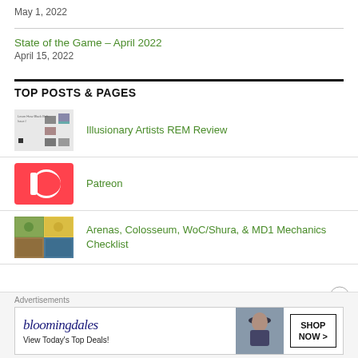May 1, 2022
State of the Game – April 2022
April 15, 2022
TOP POSTS & PAGES
Illusionary Artists REM Review
Patreon
Arenas, Colosseum, WoC/Shura, & MD1 Mechanics Checklist
Advertisements
[Figure (other): Bloomingdales advertisement banner: 'bloomingdales / View Today's Top Deals! / SHOP NOW >']